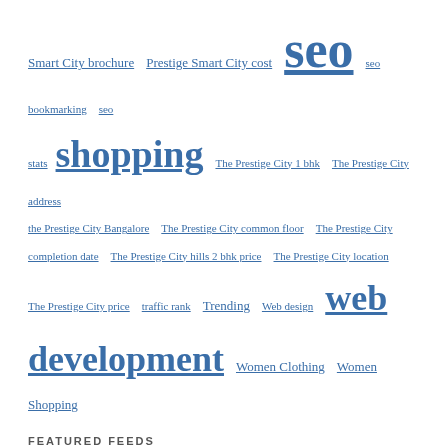Smart City brochure  Prestige Smart City cost  seo  seo bookmarking  seo stats  shopping  The Prestige City 1 bhk  The Prestige City address  the Prestige City Bangalore  The Prestige City common floor  The Prestige City completion date  The Prestige City hills 2 bhk price  The Prestige City location  The Prestige City price  traffic rank  Trending  Web design  web development  Women Clothing  Women Shopping
FEATURED FEEDS
Buy Best Perfumes for Men Online in Pakistan | Rios Pk
logo design in trichy
Printed Silk Dupatta | Seran
logo designers in trichy